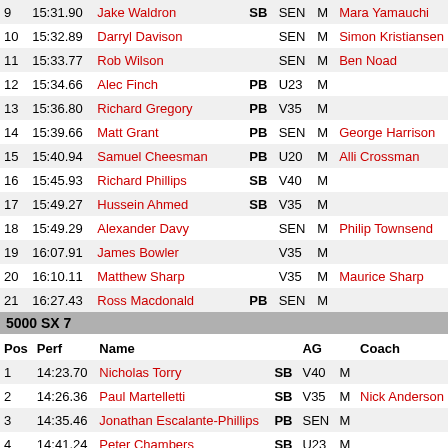| Pos | Perf | Name |  | AG |  | Coach |
| --- | --- | --- | --- | --- | --- | --- |
| 9 | 15:31.90 | Jake Waldron | SB | SEN | M | Mara Yamauchi |
| 10 | 15:32.89 | Darryl Davison |  | SEN | M | Simon Kristiansen |
| 11 | 15:33.77 | Rob Wilson |  | SEN | M | Ben Noad |
| 12 | 15:34.66 | Alec Finch | PB | U23 | M |  |
| 13 | 15:36.80 | Richard Gregory | PB | V35 | M |  |
| 14 | 15:39.66 | Matt Grant | PB | SEN | M | George Harrison |
| 15 | 15:40.94 | Samuel Cheesman | PB | U20 | M | Alli Crossman |
| 16 | 15:45.93 | Richard Phillips | SB | V40 | M |  |
| 17 | 15:49.27 | Hussein Ahmed | SB | V35 | M |  |
| 18 | 15:49.29 | Alexander Davy |  | SEN | M | Philip Townsend |
| 19 | 16:07.91 | James Bowler |  | V35 | M |  |
| 20 | 16:10.11 | Matthew Sharp |  | V35 | M | Maurice Sharp |
| 21 | 16:27.43 | Ross Macdonald | PB | SEN | M |  |
5000 SX 7
| Pos | Perf | Name |  | AG |  | Coach |
| --- | --- | --- | --- | --- | --- | --- |
| 1 | 14:23.70 | Nicholas Torry | SB | V40 | M |  |
| 2 | 14:26.36 | Paul Martelletti | SB | V35 | M | Nick Anderson |
| 3 | 14:35.46 | Jonathan Escalante-Phillips | PB | SEN | M |  |
| 4 | 14:41.24 | Peter Chambers | SB | U23 | M |  |
| 5 | 14:43.74 | John Eves | SB | SEN | M | Philip O'Dell |
| 6 | 14:45.42 | Alex Pointon | PB | SEN | M | Keith Donkin |
| 7 | 14:46.99 | Ben Toomer | PB | SEN | M |  |
| 8 | 14:47.87 | Frederick Slemeck | PB | SEN | M | Philip O'Dell |